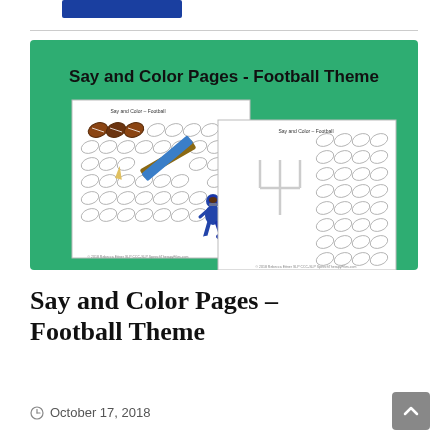[Figure (illustration): Promotional image for 'Say and Color Pages - Football Theme' educational worksheet product. Green background with bold black text title. Shows two worksheet pages featuring football outlines to color, with colored footballs, a crayon, a football player, and a football goal post.]
Say and Color Pages – Football Theme
October 17, 2018